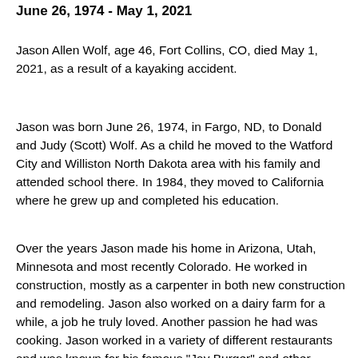June 26, 1974 - May 1, 2021
Jason Allen Wolf, age 46, Fort Collins, CO, died May 1, 2021, as a result of a kayaking accident.
Jason was born June 26, 1974, in Fargo, ND, to Donald and Judy (Scott) Wolf. As a child he moved to the Watford City and Williston North Dakota area with his family and attended school there. In 1984, they moved to California where he grew up and completed his education.
Over the years Jason made his home in Arizona, Utah, Minnesota and most recently Colorado. He worked in construction, mostly as a carpenter in both new construction and remodeling. Jason also worked on a dairy farm for a while, a job he truly loved. Another passion he had was cooking. Jason worked in a variety of different restaurants and was known for his famous "Jay Burger" and other specialties.